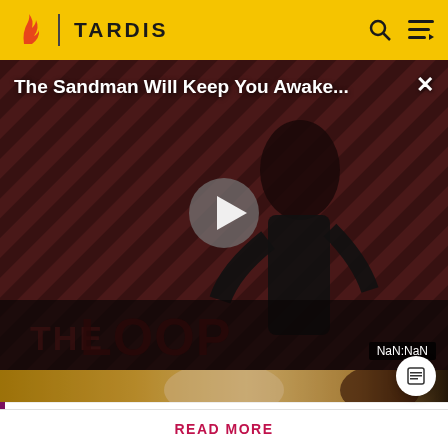TARDIS
[Figure (screenshot): Video player showing 'The Sandman Will Keep You Awake...' with a dark figure in black against diagonal red/brown striped background. Play button visible in center. 'THE LOOP' text at bottom. Timestamp shows NaN:NaN. Close X button top right.]
[Figure (photo): Thumbnail strip showing a blurred image with golden/warm tones, appears to be a sci-fi scene.]
Spoilers are precisely defined here. Rules vary by the story's medium. Info from television stories can't be added here
READ MORE